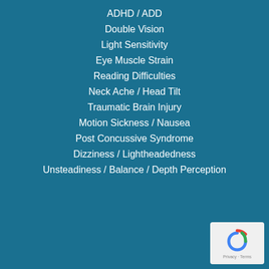ADHD / ADD
Double Vision
Light Sensitivity
Eye Muscle Strain
Reading Difficulties
Neck Ache / Head Tilt
Traumatic Brain Injury
Motion Sickness / Nausea
Post Concussive Syndrome
Dizziness / Lightheadedness
Unsteadiness / Balance / Depth Perception